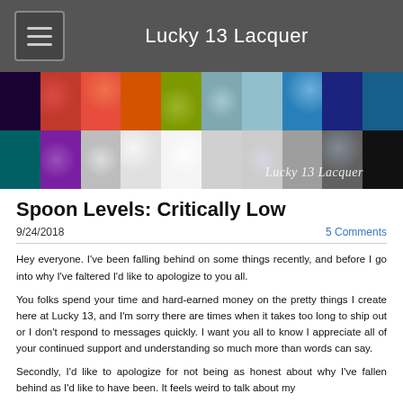Lucky 13 Lacquer
[Figure (photo): Banner image showing a grid of nail polish swatches in various colors including dark purple, red, orange, yellow-green, teal, blue, dark navy on top row, and teal, purple, grey, white, silver, dark colors on bottom row, with Lucky 13 Lacquer logo in script text on lower right.]
Spoon Levels: Critically Low
9/24/2018
5 Comments
Hey everyone. I've been falling behind on some things recently, and before I go into why I've faltered I'd like to apologize to you all.
You folks spend your time and hard-earned money on the pretty things I create here at Lucky 13, and I'm sorry there are times when it takes too long to ship out or I don't respond to messages quickly. I want you all to know I appreciate all of your continued support and understanding so much more than words can say.
Secondly, I'd like to apologize for not being as honest about why I've fallen behind as I'd like to have been. It feels weird to talk about my